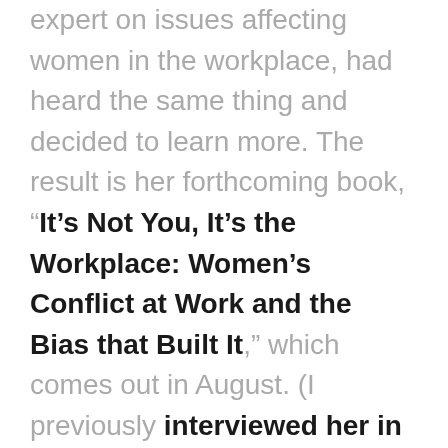was struck with a Emery and an expert on issues affecting women in the workplace, had heard the same thing and decided to learn more. The result is her forthcoming book, “It’s Not You, It’s the Workplace: Women’s Conflict at Work and the Bias that Built It,” which comes out in August. (I previously interviewed her in 2017 following her first book, “Breaking Through Bias: